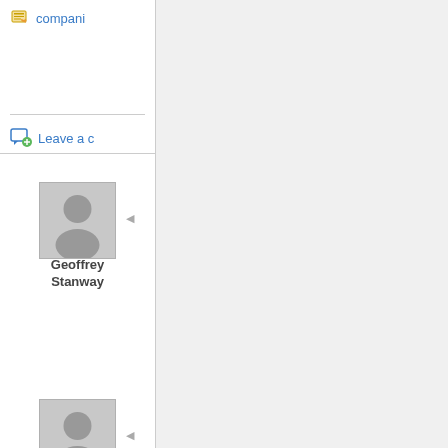compani
Leave a c
[Figure (illustration): Default user avatar placeholder for Geoffrey Stanway]
Geoffrey Stanway
[Figure (illustration): Default user avatar placeholder for Malcolm Davies]
Malcolm Davies